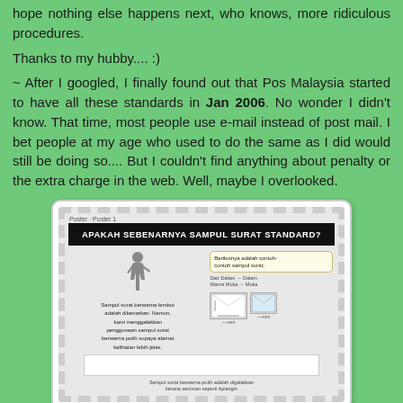hope nothing else happens next, who knows, more ridiculous procedures.
Thanks to my hubby.... :)
~ After I googled, I finally found out that Pos Malaysia started to have all these standards in Jan 2006. No wonder I didn't know. That time, most people use e-mail instead of post mail. I bet people at my age who used to do the same as I did would still be doing so.... But I couldn't find anything about penalty or the extra charge in the web. Well, maybe I overlooked.
[Figure (infographic): Infographic titled 'APAKAH SEBENARNYA SAMPUL SURAT STANDARD?' showing envelope standards with a silhouette figure presenting, text in Malay explaining envelope color standards, speech bubble with contoh-contoh sampul surat, and envelope diagrams.]